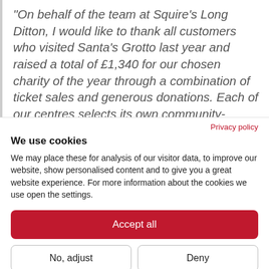“On behalf of the team at Squire’s Long Ditton, I would like to thank all customers who visited Santa’s Grotto last year and raised a total of £1,340 for our chosen charity of the year through a combination of ticket sales and generous donations. Each of our centres selects its own community-based charity, so we can
Privacy policy
We use cookies
We may place these for analysis of our visitor data, to improve our website, show personalised content and to give you a great website experience. For more information about the cookies we use open the settings.
Accept all
No, adjust
Deny